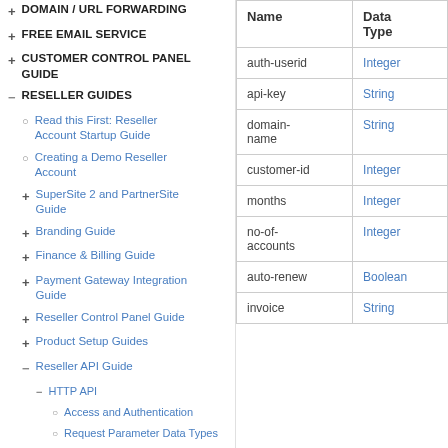+ DOMAIN / URL FORWARDING
+ FREE EMAIL SERVICE
+ CUSTOMER CONTROL PANEL GUIDE
− RESELLER GUIDES
○ Read this First: Reseller Account Startup Guide
○ Creating a Demo Reseller Account
+ SuperSite 2 and PartnerSite Guide
+ Branding Guide
+ Finance & Billing Guide
+ Payment Gateway Integration Guide
+ Reseller Control Panel Guide
+ Product Setup Guides
− Reseller API Guide
− HTTP API
○ Access and Authentication
○ Request Parameter Data Types
| Name | Data Type |
| --- | --- |
| auth-userid | Integer |
| api-key | String |
| domain-name | String |
| customer-id | Integer |
| months | Integer |
| no-of-accounts | Integer |
| auto-renew | Boolean |
| invoice | String |